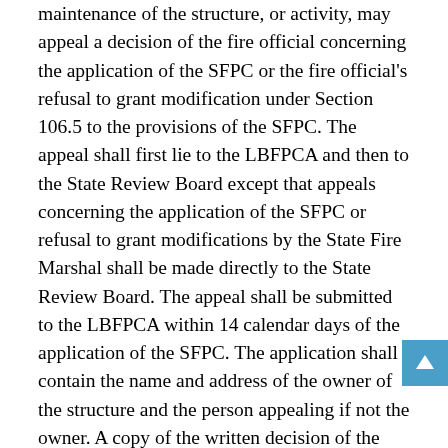maintenance of the structure, or activity, may appeal a decision of the fire official concerning the application of the SFPC or the fire official's refusal to grant modification under Section 106.5 to the provisions of the SFPC. The appeal shall first lie to the LBFPCA and then to the State Review Board except that appeals concerning the application of the SFPC or refusal to grant modifications by the State Fire Marshal shall be made directly to the State Review Board. The appeal shall be submitted to the LBFPCA within 14 calendar days of the application of the SFPC. The application shall contain the name and address of the owner of the structure and the person appealing if not the owner. A copy of the written decision of the fire official shall be submitted along with the application for appeal and maintained as part of the record. The application shall be stamped or otherwise marked by the LBFPCA to indicate the date received. Failure to submit an application for appeal within the time limit established by this section shall constitute acceptance of the fire official's decision.